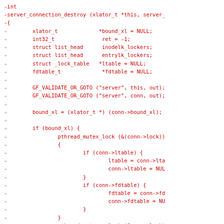[Figure (other): Diff/patch code snippet in red monospace font showing server_connection_destroy function with removed lines (prefixed with -).]